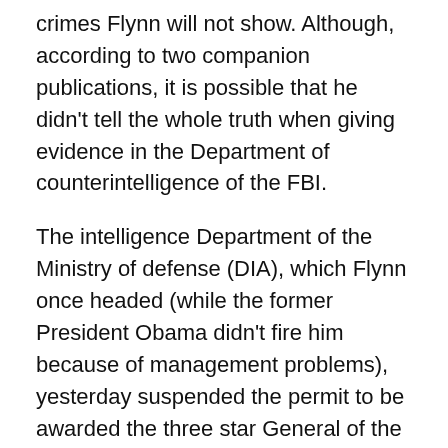crimes Flynn will not show. Although, according to two companion publications, it is possible that he didn't tell the whole truth when giving evidence in the Department of counterintelligence of the FBI.
The intelligence Department of the Ministry of defense (DIA), which Flynn once headed (while the former President Obama didn't fire him because of management problems), yesterday suspended the permit to be awarded the three star General of the army to classified information. The management of the DIA revoked his security clearance to top secret information/classified information with a special mode of storage. However, the temporary suspension of such permit for the period of the investigation is a normal procedure.
The message left for him Wednesday, Flynn said.